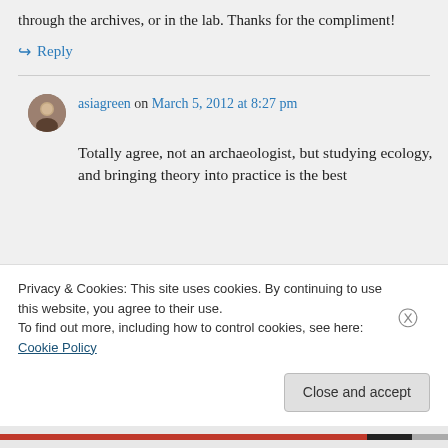through the archives, or in the lab. Thanks for the compliment!
↪ Reply
asiagreen on March 5, 2012 at 8:27 pm
Totally agree, not an archaeologist, but studying ecology, and bringing theory into practice is the best
Privacy & Cookies: This site uses cookies. By continuing to use this website, you agree to their use.
To find out more, including how to control cookies, see here: Cookie Policy